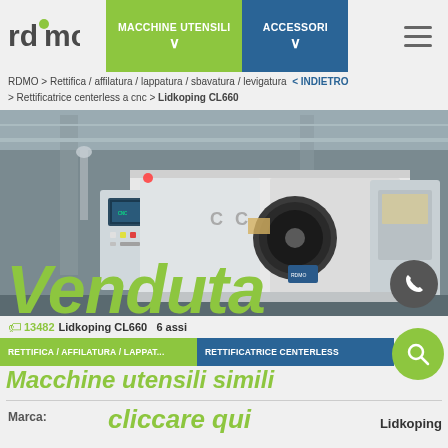MACCHINE UTENSILI  ACCESSORI  rdmo [hamburger menu]
RDMO > Rettifica / affilatura / lappatura / sbavatura / levigatura  < INDIETRO > Rettificatrice centerless a cnc > Lidkoping CL660
[Figure (photo): CNC centerless grinding machine Lidkoping CL660 in industrial workshop. Large white machine tool with control panel on left side.]
Venduta
13482 Lidkoping CL660 6 assi
RETTIFICA / AFFILATURA / LAPPAT...   RETTIFICATRICE CENTERLESS
Macchine utensili simili
Marca:
cliccare qui
Lidkoping